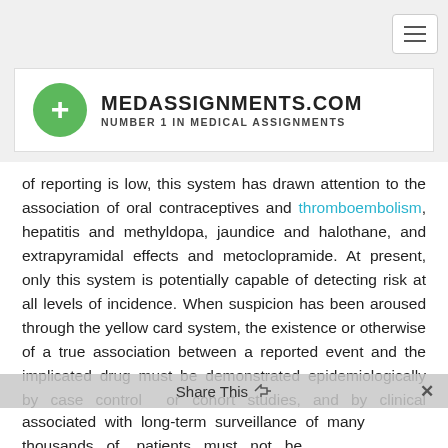MEDASSIGNMENTS.COM — NUMBER 1 IN MEDICAL ASSIGNMENTS
of reporting is low, this system has drawn attention to the association of oral contraceptives and thromboembolism, hepatitis and methyldopa, jaundice and halothane, and extrapyramidal effects and metoclopramide. At present, only this system is potentially capable of detecting risk at all levels of incidence. When suspicion has been aroused through the yellow card system, the existence or otherwise of a true association between a reported event and the implicated drug must be demonstrated epidemiologically by case control or cohort studies, and by clinical pharmacological and toxicological studies of the possible mechanisms involved. The problems associated with long-term surveillance of many thousands of patients must not be